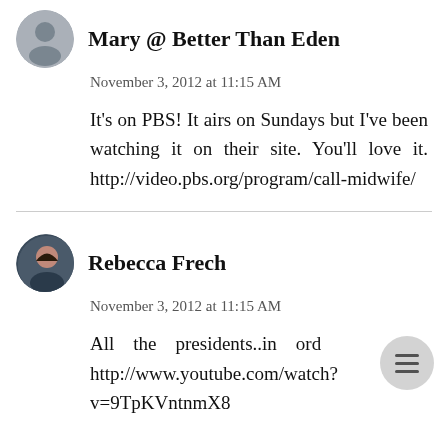[Figure (photo): Circular avatar photo of a person, partially visible at top]
November 3, 2012 at 11:15 AM
It's on PBS! It airs on Sundays but I've been watching it on their site. You'll love it. http://video.pbs.org/program/call-midwife/
[Figure (photo): Circular avatar photo of Rebecca Frech, a woman with dark hair]
Rebecca Frech
November 3, 2012 at 11:15 AM
All the presidents..in ord http://www.youtube.com/watch?v=9TpKVntnmX8